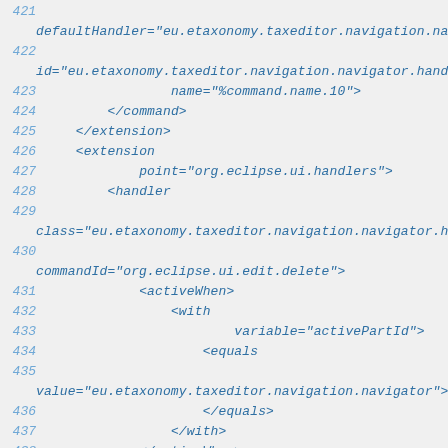[Figure (screenshot): Source code listing showing XML plugin configuration lines 421–440, with blue line numbers and italic monospace code on a light gray background.]